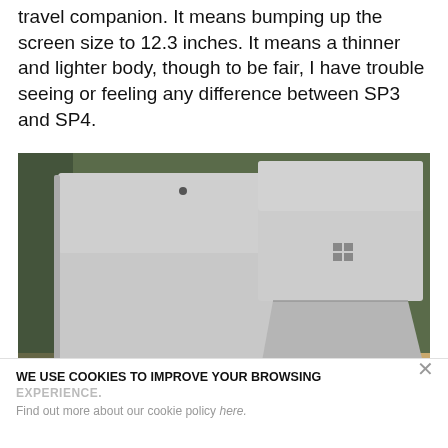travel companion. It means bumping up the screen size to 12.3 inches. It means a thinner and lighter body, though to be fair, I have trouble seeing or feeling any difference between SP3 and SP4.
[Figure (photo): Rear view of two Microsoft Surface Pro tablets standing upright on a wooden surface against a green wall, showing the silver magnesium back with kickstands and Windows logos.]
WE USE COOKIES TO IMPROVE YOUR BROWSING EXPERIENCE. Find out more about our cookie policy here.